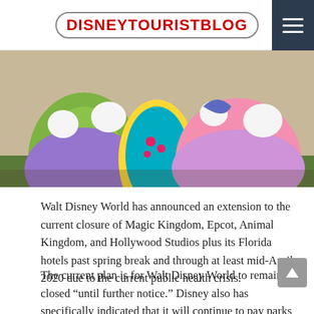DISNEYTOURISTBLOG
[Figure (photo): Photo of Disney character costumes in colorful gowns — green, purple, yellow, and pink — posed together outdoors]
Walt Disney World has announced an extension to the current closure of Magic Kingdom, Epcot, Animal Kingdom, and Hollywood Studios plus its Florida hotels past spring break and through at least mid-April 2020 due to the current public health crisis.
The current plan is for Walt Disney World to remain closed “until further notice.” Disney also has specifically indicated that it will continue to pay parks and resorts hourly Cast Members through April 18, 2020. This does not mean that the parks will reopen after that date, but